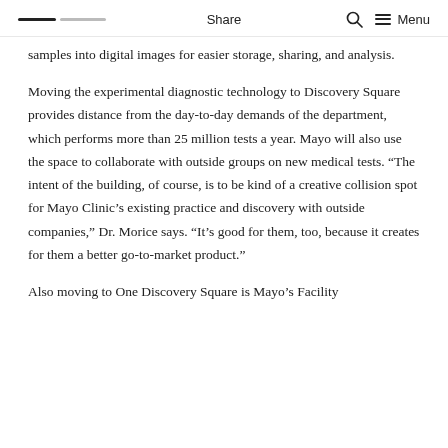Share  Menu
samples into digital images for easier storage, sharing, and analysis.
Moving the experimental diagnostic technology to Discovery Square provides distance from the day-to-day demands of the department, which performs more than 25 million tests a year. Mayo will also use the space to collaborate with outside groups on new medical tests. “The intent of the building, of course, is to be kind of a creative collision spot for Mayo Clinic’s existing practice and discovery with outside companies,” Dr. Morice says. “It’s good for them, too, because it creates for them a better go-to-market product.”
Also moving to One Discovery Square is Mayo’s Facility